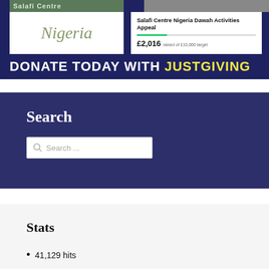[Figure (screenshot): Salafi Centre Nigeria banner with logo, JustGiving fundraising widget showing £2,016 raised, and 'DONATE TODAY WITH JUSTGIVING' text]
Search
Search ...
Stats
41,129 hits